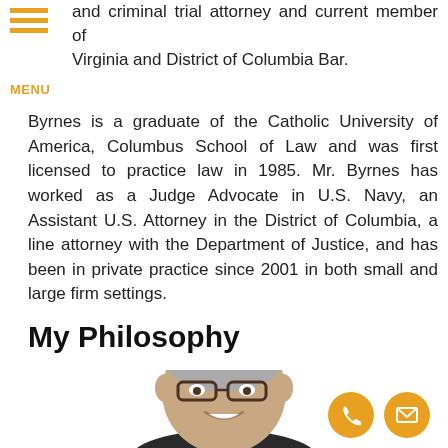MENU
and criminal trial attorney and current member of Virginia and District of Columbia Bar.
Byrnes is a graduate of the Catholic University of America, Columbus School of Law and was first licensed to practice law in 1985. Mr. Byrnes has worked as a Judge Advocate in U.S. Navy, an Assistant U.S. Attorney in the District of Columbia, a line attorney with the Department of Justice, and has been in private practice since 2001 in both small and large firm settings.
My Philosophy
[Figure (photo): Portrait photo of a middle-aged man with grey hair and glasses, smiling, wearing a dark suit. Two orange circular contact icons (phone and email) appear in the lower right corner.]